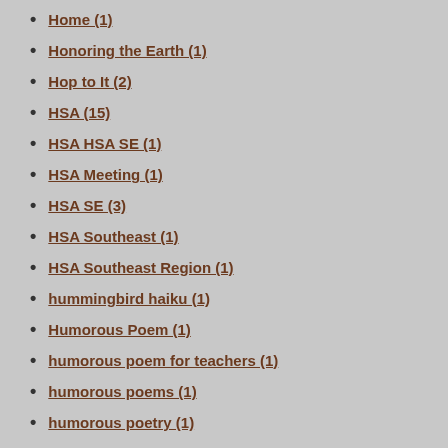Home (1)
Honoring the Earth (1)
Hop to It (2)
HSA (15)
HSA HSA SE (1)
HSA Meeting (1)
HSA SE (3)
HSA Southeast (1)
HSA Southeast Region (1)
hummingbird haiku (1)
Humorous Poem (1)
humorous poem for teachers (1)
humorous poems (1)
humorous poetry (1)
hurricane (2)
Hurricane Haiku (1)